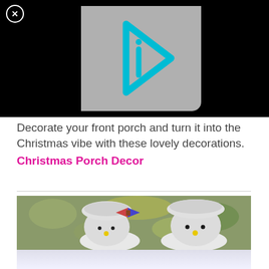[Figure (screenshot): Video player thumbnail with black background, close button (X in circle) top-left, and a gray rounded square containing a cyan/teal play-button shaped logo with letter 'i' inside]
Decorate your front porch and turn it into the Christmas vibe with these lovely decorations.
Christmas Porch Decor
[Figure (photo): Two handmade sock snowman figurines with white knit hats, black bead eyes, yellow button noses. Left snowman has a plaid fabric bow. Green leafy background. Bottom portion shows reflection of the snowmen.]